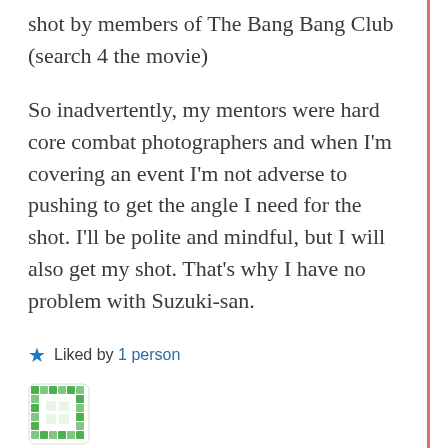shot by members of The Bang Bang Club (search 4 the movie)
So inadvertently, my mentors were hard core combat photographers and when I'm covering an event I'm not adverse to pushing to get the angle I need for the shot. I'll be polite and mindful, but I will also get my shot. That's why I have no problem with Suzuki-san.
★ Liked by 1person
[Figure (illustration): Green decorative avatar icon with geometric pattern]
Nicolas · February 11, 2020